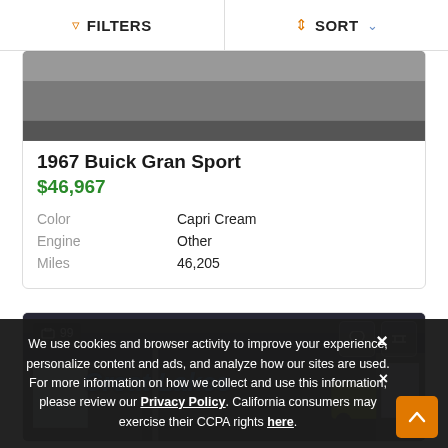FILTERS  SORT
[Figure (photo): Partial view of a car (top cropped), dark asphalt background]
1967 Buick Gran Sport
$46,967
| Color | Capri Cream |
| Engine | Other |
| Miles | 46,205 |
[Figure (photo): Great Lakes dealership sign with a yellow hot rod car in foreground, dark background. Photo count badge showing 99.]
We use cookies and browser activity to improve your experience, personalize content and ads, and analyze how our sites are used. For more information on how we collect and use this information, please review our Privacy Policy. California consumers may exercise their CCPA rights here.